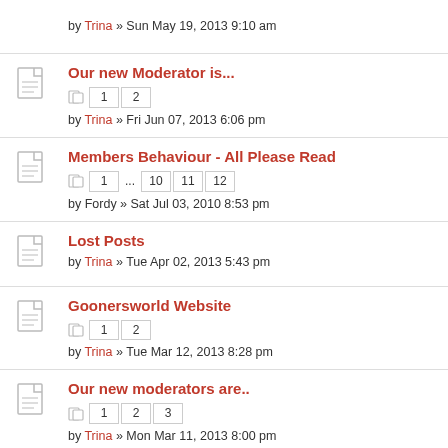by Trina » Sun May 19, 2013 9:10 am
Our new Moderator is... | pages 1 2 | by Trina » Fri Jun 07, 2013 6:06 pm
Members Behaviour - All Please Read | pages 1 ... 10 11 12 | by Fordy » Sat Jul 03, 2010 8:53 pm
Lost Posts | by Trina » Tue Apr 02, 2013 5:43 pm
Goonersworld Website | pages 1 2 | by Trina » Tue Mar 12, 2013 8:28 pm
Our new moderators are.. | pages 1 2 3 | by Trina » Mon Mar 11, 2013 8:00 pm
Moderator position available | pages 1 ... 4 5 6